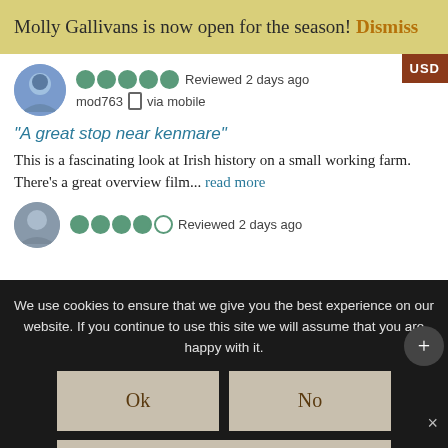Molly Gallivans is now open for the season! Dismiss
Reviewed 2 days ago mod763 via mobile
“A great stop near kenmare”
This is a fascinating look at Irish history on a small working farm. There's a great overview film... read more
Reviewed 2 days ago
We use cookies to ensure that we give you the best experience on our website. If you continue to use this site we will assume that you are happy with it.
Ok
No
Cookies Policy